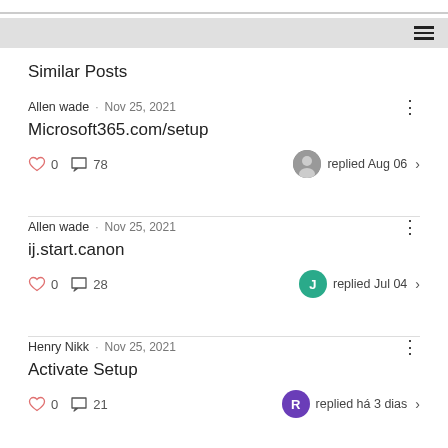Similar Posts
Allen wade · Nov 25, 2021
Microsoft365.com/setup
♡ 0  💬 78  replied Aug 06
Allen wade · Nov 25, 2021
ij.start.canon
♡ 0  💬 28  replied Jul 04
Henry Nikk · Nov 25, 2021
Activate Setup
♡ 0  💬 21  replied há 3 dias